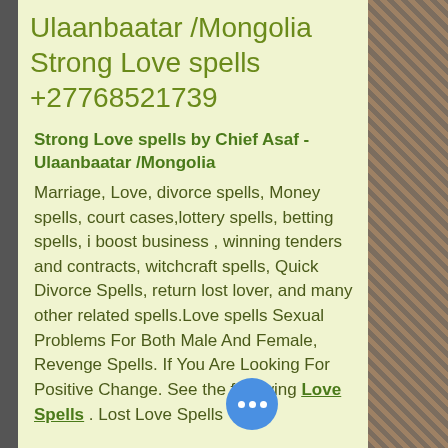Ulaanbaatar /Mongolia Strong Love spells +27768521739
Strong Love spells by Chief Asaf - Ulaanbaatar /Mongolia
Marriage, Love, divorce spells, Money spells, court cases,lottery spells, betting spells, i boost business , winning tenders and contracts, witchcraft spells, Quick Divorce Spells, return lost lover, and many other related spells.Love spells Sexual Problems For Both Male And Female, Revenge Spells. If You Are Looking For Positive Change. See the following Love Spells . Lost Love Spells
[Figure (photo): Decorative image strip on the right side of the page showing a textured animal or natural pattern in brown/grey tones]